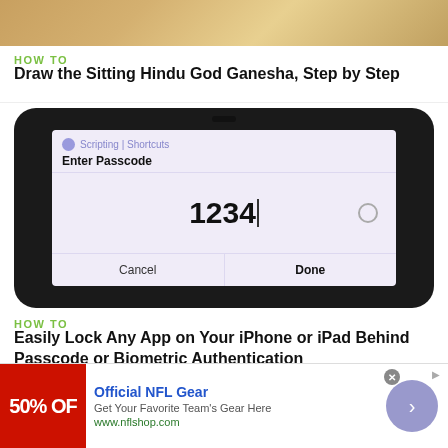[Figure (photo): Top portion of a hand drawing Ganesha on paper]
HOW TO
Draw the Sitting Hindu God Ganesha, Step by Step
[Figure (photo): Smartphone screen showing an 'Enter Passcode' dialog with 1234 entered, Cancel and Done buttons, in a Scripting/Shortcuts context]
HOW TO
Easily Lock Any App on Your iPhone or iPad Behind Passcode or Biometric Authentication
[Figure (other): Advertisement banner: Official NFL Gear – Get Your Favorite Team's Gear Here – www.nflshop.com, with 50% OFF red badge and arrow button]